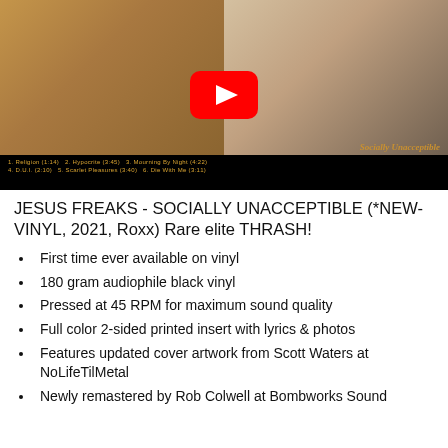[Figure (screenshot): YouTube video thumbnail showing Jesus Freaks - Socially Unacceptible album cover with a red YouTube play button overlaid in the center. The album cover shows band members on left side with brown/earth tones, and a group scene on the right. A black bar is at the bottom with tracklist text in gold: '1. Religion 2. Hypocrite 3. Mourning By Night 4. D.U.I. 5. Scarlet Pleasures 6. Die With Me'. The words 'Socially Unacceptible' appear in stylized text at bottom right.]
JESUS FREAKS - SOCIALLY UNACCEPTIBLE (*NEW-VINYL, 2021, Roxx) Rare elite THRASH!
First time ever available on vinyl
180 gram audiophile black vinyl
Pressed at 45 RPM for maximum sound quality
Full color 2-sided printed insert with lyrics & photos
Features updated cover artwork from Scott Waters at NoLifeTilMetal
Newly remastered by Rob Colwell at Bombworks Sound